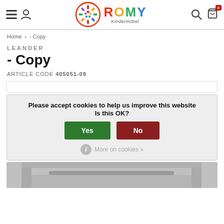ROMY Kindermöbel — navigation header with logo, hamburger menu, user icon, search, cart (0)
Home › - Copy
LEANDER
- Copy
ARTICLE CODE 405051-09
Please accept cookies to help us improve this website
Is this OK?
Yes  No
i More on cookies »
[Figure (illustration): Partially visible grey children's bed/furniture image at the bottom of the page]